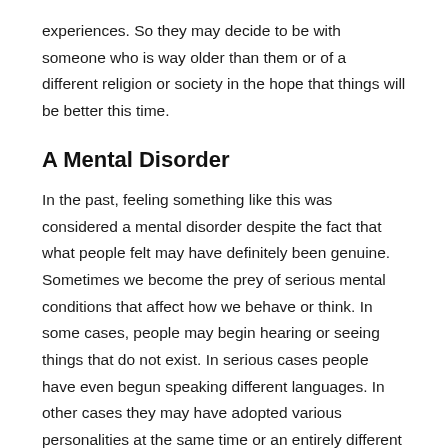experiences. So they may decide to be with someone who is way older than them or of a different religion or society in the hope that things will be better this time.
A Mental Disorder
In the past, feeling something like this was considered a mental disorder despite the fact that what people felt may have definitely been genuine. Sometimes we become the prey of serious mental conditions that affect how we behave or think. In some cases, people may begin hearing or seeing things that do not exist. In serious cases people have even begun speaking different languages. In other cases they may have adopted various personalities at the same time or an entirely different one. Although there is nothing wrong